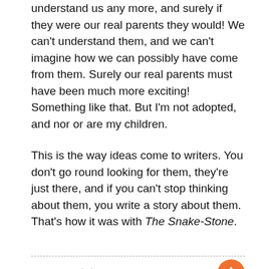understand us any more, and surely if they were our real parents they would! We can't understand them, and we can't imagine how we can possibly have come from them. Surely our real parents must have been much more exciting! Something like that. But I'm not adopted, and nor or are my children.
This is the way ideas come to writers. You don't go round looking for them, they're just there, and if you can't stop thinking about them, you write a story about them. That's how it was with The Snake-Stone.
[Figure (other): Orange circular up-arrow button (scroll to top)]
““ (large decorative opening quotation mark in purple/indigo)
This story could not be bettered